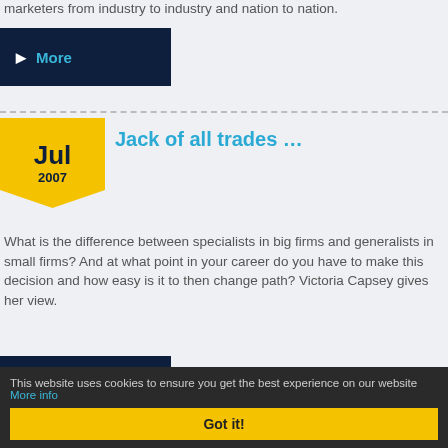marketers from industry to industry and nation to nation.
More
Jack of all trades …
Jul 2007
What is the difference between specialists in big firms and generalists in small firms? And at what point in your career do you have to make this decision and how easy is it to then change path? Victoria Capsey gives her view.
More
This website uses cookies to ensure you get the best experience on our website More info
Got it!